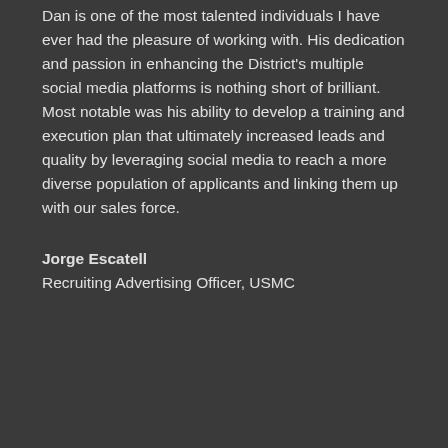Dan is one of the most talented individuals I have ever had the pleasure of working with. His dedication and passion in enhancing the District's multiple social media platforms is nothing short of brilliant. Most notable was his ability to develop a training and execution plan that ultimately increased leads and quality by leveraging social media to reach a more diverse population of applicants and linking them up with our sales force.
Jorge Escatell
Recruiting Advertising Officer, USMC